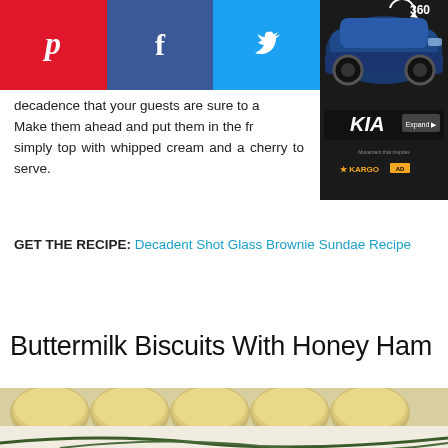[Figure (other): Social share bar with Pinterest (red), Facebook (dark blue), and Twitter (light blue) icons]
[Figure (other): Kia car advertisement with dark background showing a blue car, KIA logo, Expand button, and KARGO branding]
decadence that your guests are sure to a... Make them ahead and put them in the fr... simply top with whipped cream and a cherry to serve.
GET THE RECIPE: Decadent Shot Glass Brownie Sundae Recipe
Buttermilk Biscuits With Honey Ham
[Figure (photo): Photo of buttermilk biscuits arranged in a row on a white surface, surrounded by fresh rosemary sprigs, with a small bowl of yellow dipping sauce and a spoon in the foreground]